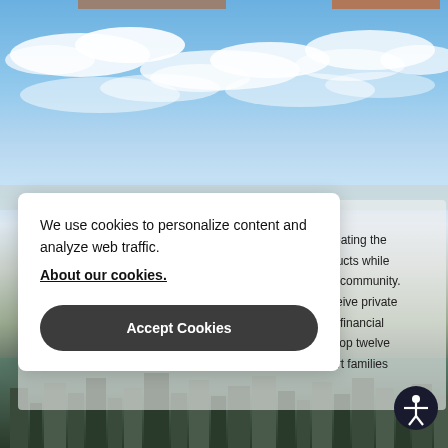[Figure (photo): Partial view of two photo strips at the top of the page, showing people/portraits cropped]
[Figure (photo): Sky with clouds — blue sky and white clouds, cityscape visible below]
We use cookies to personalize content and analyze web traffic.
About our cookies.
Accept Cookies
reating the ducts while e community. ceive private d financial elop twelve ort families
[Figure (illustration): Accessibility icon — person with arms outstretched in circle, dark background]